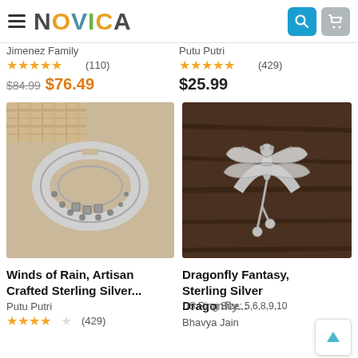[Figure (screenshot): NOVICA e-commerce navigation bar with hamburger menu, NOVICA logo, search and cart icons]
Jimenez Family
★★★★★ (110)
$84.99  $76.49
Putu Putri
★★★★★ (429)
$25.99
[Figure (photo): Sterling silver artisan-crafted ring with decorative pattern on wooden surface]
[Figure (photo): Sterling silver dragonfly ring on dark wooden surface]
Winds of Rain, Artisan Crafted Sterling Silver...
Putu Putri
★★★★☆ (429)
Dragonfly Fantasy, Sterling Silver Dragonfly...
US Ring Size: 5,6,8,9,10
Bhavya Jain